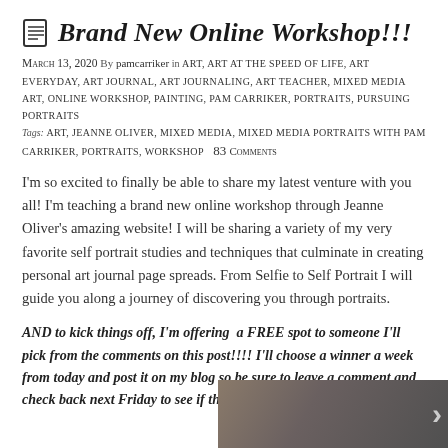Brand New Online Workshop!!!
March 13, 2020  By  pamcarriker  in ART, ART AT THE SPEED OF LIFE, ART EVERYDAY, ART JOURNAL, ART JOURNALING, ART TEACHER, MIXED MEDIA ART, ONLINE WORKSHOP, PAINTING, PAM CARRIKER, PORTRAITS, PURSUING PORTRAITS  Tags: ART, JEANNE OLIVER, MIXED MEDIA, MIXED MEDIA PORTRAITS WITH PAM CARRIKER, PORTRAITS, WORKSHOP  83 Comments
I'm so excited to finally be able to share my latest venture with you all! I'm teaching a brand new online workshop through Jeanne Oliver's amazing website! I will be sharing a variety of my very favorite self portrait studies and techniques that culminate in creating personal art journal page spreads. From Selfie to Self Portrait I will guide you along a journey of discovering you through portraits.
AND to kick things off, I'm offering  a FREE spot to someone I'll pick from the comments on this post!!!! I'll choose a winner a week from today and post it on my blog so be sure to leave a comment and check back next Friday to see if the winner is you!!!!!
[Figure (photo): Partial photo strip at the bottom right of the page showing blurred portrait images with a right-arrow navigation control]